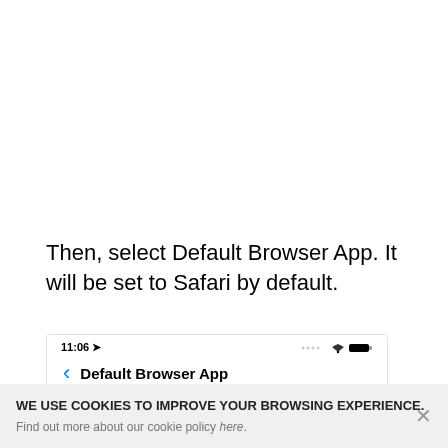Then, select Default Browser App. It will be set to Safari by default.
[Figure (screenshot): iPhone screenshot showing the 'Default Browser App' settings screen with status bar showing 11:06 and navigation bar with back arrow]
WE USE COOKIES TO IMPROVE YOUR BROWSING EXPERIENCE.
Find out more about our cookie policy here.